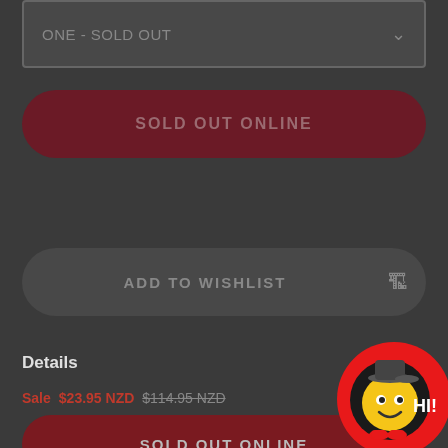ONE - SOLD OUT
SOLD OUT ONLINE
ADD TO WISHLIST
Details
Sale  $23.95 NZD  $114.95 NZD  -79%
SOLD OUT ONLINE
[Figure (illustration): Cartoon mascot character — a smiley face wearing a sideways cap and sneakers, inside a red circle with 'HI!' text]